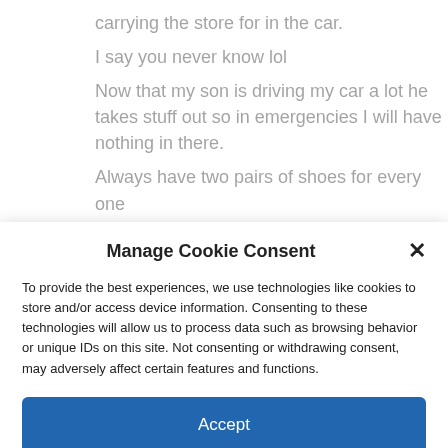carrying the store for in the car.
I say you never know lol
Now that my son is driving my car a lot he takes stuff out so in emergencies I will have nothing in there.
Always have two pairs of shoes for every one
Always carry alight tent with an extra plastic
Manage Cookie Consent
To provide the best experiences, we use technologies like cookies to store and/or access device information. Consenting to these technologies will allow us to process data such as browsing behavior or unique IDs on this site. Not consenting or withdrawing consent, may adversely affect certain features and functions.
Accept
Cookie Policy   Disclosure Policy